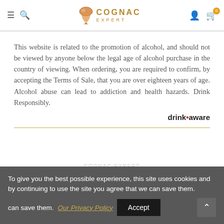Cognac Expert — Navigation header with logo, menu, search, user and cart icons
This website is related to the promotion of alcohol, and should not be viewed by anyone below the legal age of alcohol purchase in the country of viewing. When ordering, you are required to confirm, by accepting the Terms of Sale, that you are over eighteen years of age. Alcohol abuse can lead to addiction and health hazards. Drink Responsibly.
drinkaware
To give you the best possible experience, this site uses cookies and by continuing to use the site you agree that we can save them. Our Privacy Policy  Accept